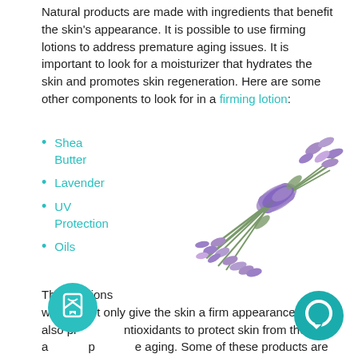Natural products are made with ingredients that benefit the skin's appearance. It is possible to use firming lotions to address premature aging issues. It is important to look for a moisturizer that hydrates the skin and promotes skin regeneration. Here are some other components to look for in a firming lotion:
Shea Butter
Lavender
UV Protection
Oils
[Figure (photo): A bunch of lavender flowers wrapped with a purple ribbon, lying on a white background.]
These lotions work to not only give the skin a firm appearance. They also provide antioxidants to protect skin from the sun and premature aging. Some of these products are for daytime or nighttime usage. Product instructions will help you to treat your complexion.